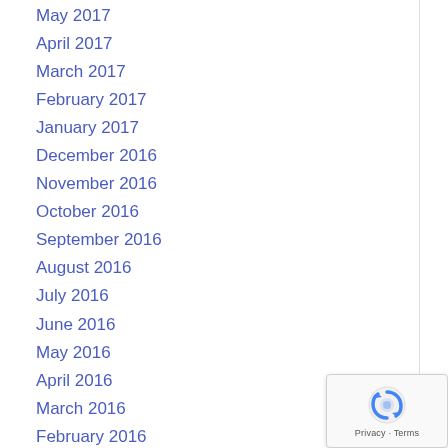May 2017
April 2017
March 2017
February 2017
January 2017
December 2016
November 2016
October 2016
September 2016
August 2016
July 2016
June 2016
May 2016
April 2016
March 2016
February 2016
January 2016
December 2015
November 2015
October 2015